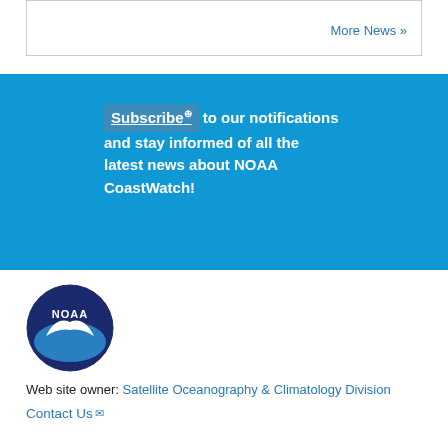More News »
Subscribe to our notifications and stay informed of all the latest news about NOAA CoastWatch!
[Figure (logo): NOAA circular logo with dark blue background, white bird silhouette and NOAA text]
Web site owner: Satellite Oceanography & Climatology Division
Contact Us